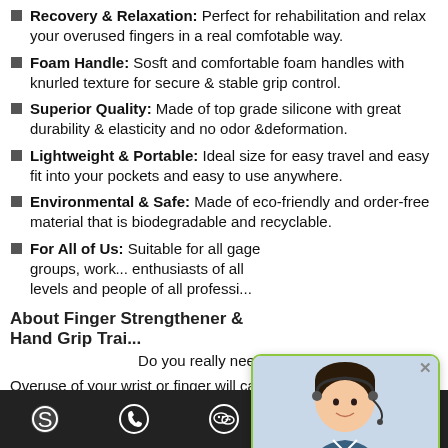Recovery & Relaxation: Perfect for rehabilitation and relax your overused fingers in a real comfotable way.
Foam Handle: Sosft and comfortable foam handles with knurled texture for secure & stable grip control.
Superior Quality: Made of top grade silicone with great durability & elasticity and no odor &deformation.
Lightweight & Portable: Ideal size for easy travel and easy fit into your pockets and easy to use anywhere.
Environmental & Safe: Made of eco-friendly and order-free material that is biodegradable and recyclable.
For All of Us: Suitable for all gage groups, wor... enthusiasts of all levels and people of all professi...
About Finger Strengthener & Hand Grip Trai...
Do you really need a finger exercise...
Overuse of your wrist or finger will casue pain & in... arthritis or tendonitis. Finger exercises and hand grips trapping will...
[Figure (photo): Customer service popup with photo of a smiling woman wearing a headset, Quick Quotation button in green, and Contact Us for a Quick Quotation link in blue.]
Bottom navigation bar with icons: Skype, phone/chat, WeChat, email, scroll-up